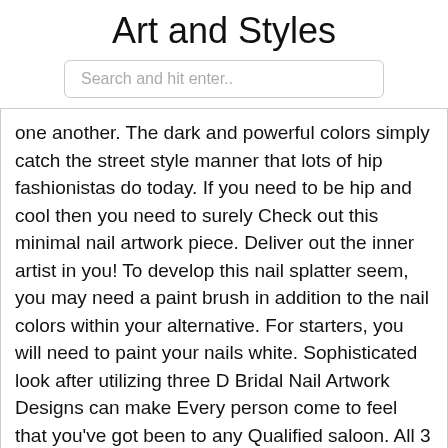Art and Styles
[Figure (other): Search bar with placeholder text 'Search and hit enter..']
one another. The dark and powerful colors simply catch the street style manner that lots of hip fashionistas do today. If you need to be hip and cool then you need to surely Check out this minimal nail artwork piece. Deliver out the inner artist in you! To develop this nail splatter seem, you may need a paint brush in addition to the nail colors within your alternative. For starters, you will need to paint your nails white. Sophisticated look after utilizing three D Bridal Nail Artwork Designs can make Every person come to feel that you've got been to any Qualified saloon. All 3 D nail designs are in compliance with the most recent fashion craze and incorporate more edge to the nails. This very lovable and homey Japanese nail artwork design is something that you are able to recreate all by yourself nails and carry on For several times. It could go perfectly with any event you go to and it can be quickly reapplied. The simple flower styles and simple colors make this well known nail art a favorite for many. Sellers planning to mature their business enterprise